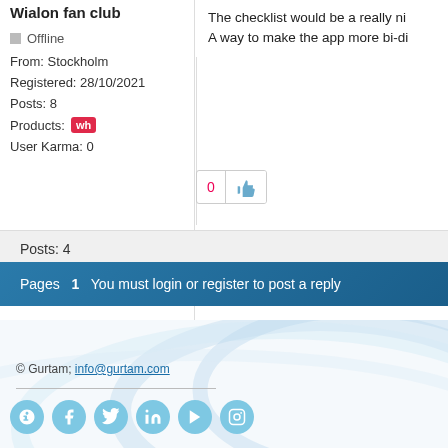Wialon fan club
Offline
From: Stockholm
Registered: 28/10/2021
Posts: 8
Products: wh
User Karma: 0
Profile
The checklist would be a really ni
A way to make the app more bi-di
0
Posts: 4
Pages  1  You must login or register to post a reply
© Gurtam; info@gurtam.com